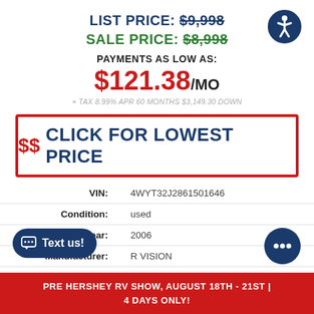LIST PRICE: $9,998
SALE PRICE: $8,998
PAYMENTS AS LOW AS:
$121.38/MO
+ TAX 8.99% APR 60 MONTHS $3,149.30 DOWN
$$  CLICK FOR LOWEST PRICE
| Field | Value |
| --- | --- |
| VIN: | 4WYT32J2861501646 |
| Condition: | used |
| Year: | 2006 |
| Manufacturer: | R VISION |
|  | ML24RS |
| Length: | 29' or 348.00" |
PRE HERSHEY RV SHOW, AUGUST 18TH - 21ST | 4 DAYS ONLY!